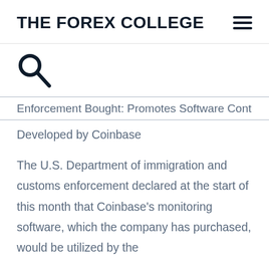THE FOREX COLLEGE
[Figure (other): Search icon (magnifying glass)]
Enforcement Bought: Promotes Software Developed by Coinbase
The U.S. Department of immigration and customs enforcement declared at the start of this month that Coinbase's monitoring software, which the company has purchased, would be utilized by the